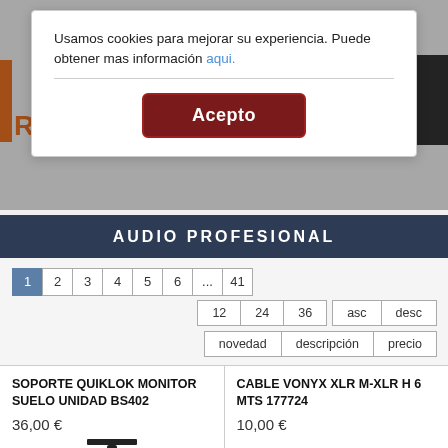Usamos cookies para mejorar su experiencia. Puede obtener mas información aqui.
Acepto
AUDIO PROFESIONAL
1 2 3 4 5 6 ... 41
12 24 36 asc desc
novedad descripción precio
SOPORTE QUIKLOK MONITOR SUELO UNIDAD BS402
36,00 €
CABLE VONYX XLR M-XLR H 6 MTS 177724
10,00 €